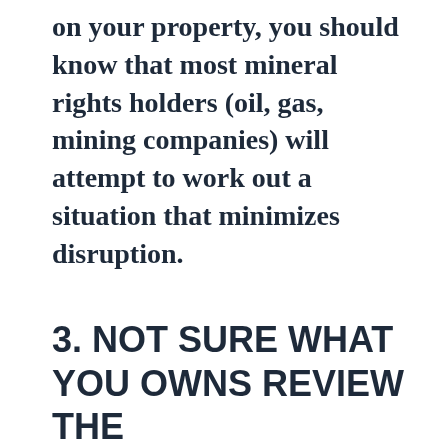on your property, you should know that most mineral rights holders (oil, gas, mining companies) will attempt to work out a situation that minimizes disruption.
3. NOT SURE WHAT YOU OWNS REVIEW THE